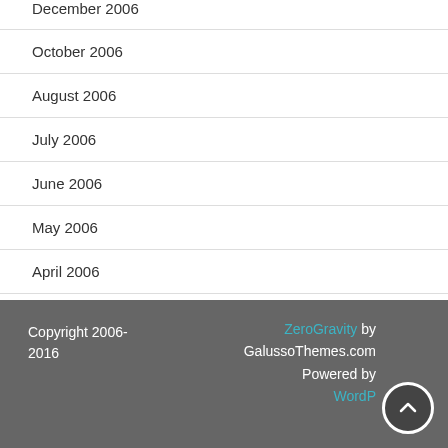December 2006
October 2006
August 2006
July 2006
June 2006
May 2006
April 2006
Copyright 2006-2016   ZeroGravity by GalussoThemes.com Powered by WordPress